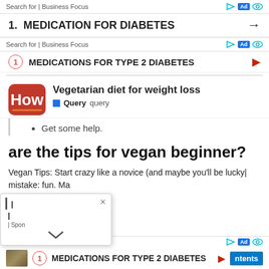Search for | Business Focus
1. MEDICATION FOR DIABETES →
Search for | Business Focus
1 MEDICATIONS FOR TYPE 2 DIABETES ▶
Vegetarian diet for weight loss
■ Query  query
Get some help.
are the tips for vegan beginner?
Vegan Tips: Start crazy like a novice (and maybe you'll be lucky | mistake: | Spon fun. Ma
| Business Focus   1  MEDICATIONS FOR TYPE 2 DIABETES ▶  ntents